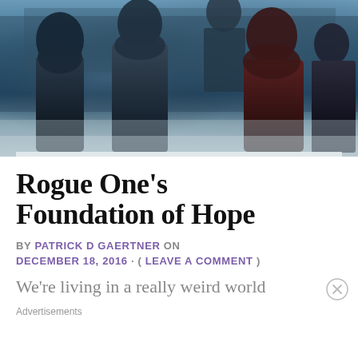[Figure (photo): Movie poster / promotional image for Rogue One: A Star Wars Story, showing multiple characters in dark sci-fi costumes against a blue-grey background]
Rogue One's Foundation of Hope
BY PATRICK D GAERTNER ON DECEMBER 18, 2016 · ( LEAVE A COMMENT )
We're living in a really weird world
Advertisements